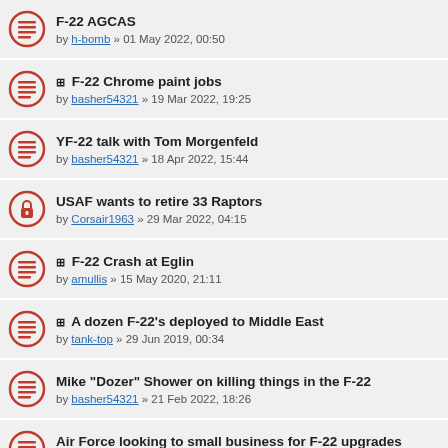F-22 AGCAS by h-bomb » 01 May 2022, 00:50
⊟ F-22 Chrome paint jobs by basher54321 » 19 Mar 2022, 19:25
YF-22 talk with Tom Morgenfeld by basher54321 » 18 Apr 2022, 15:44
USAF wants to retire 33 Raptors by Corsair1963 » 29 Mar 2022, 04:15
⊟ F-22 Crash at Eglin by amullis » 15 May 2020, 21:11
⊟ A dozen F-22's deployed to Middle East by tank-top » 29 Jun 2019, 00:34
Mike "Dozer" Shower on killing things in the F-22 by basher54321 » 21 Feb 2022, 18:26
Air Force looking to small business for F-22 upgrades by edpop » 18 Jan 2022, 05:30
⊟ F-22 AIRST by milosh » 25 May 2014, 19:34